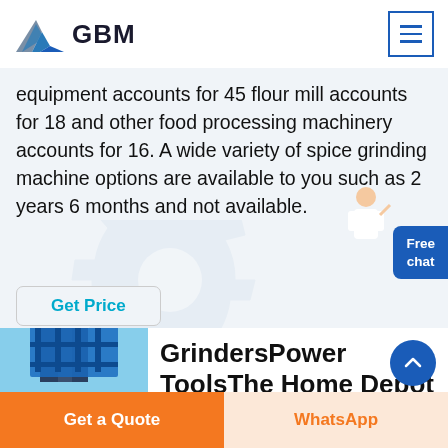GBM
equipment accounts for 45 flour mill accounts for 18 and other food processing machinery accounts for 16. A wide variety of spice grinding machine options are available to you such as 2 years 6 months and not available.
Get Price
GrindersPower ToolsThe Home Depot
[Figure (photo): Industrial grinding/milling machine equipment with blue structure and metal framework]
Get a Quote | WhatsApp